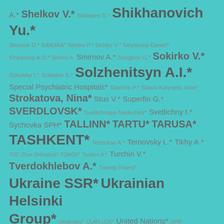A.* Shelkov V.* Shibayev S.* Shikhanovich Yu.*
Shumuk D.* SIBERIA* Sichko P.* Sichko V.* Sinyavsky-Daniel*
Sinyavsky A.D.* Skobov A. Smirnov A.* Snegirov G.* Sokirko V.*
Sokulsky I.* Soldatov S.* Solzhenitsyn A.I.*
Special Psychiatric Hospitals* Starchik P.* Stasiv-Kalynets, Irina* Strokatova, Nina* Stus V.* Superfin G.*
SVERDLOVSK* Svetlichnaya Nadezhda* Svetlichny I.*
Sychovka SPH* TALLINN* TARTU* TARUSA*
TASHKENT* Terleckas A.* Ternovsky L.* Tikhy A.*
TOC (True Orthodox)* TOMSK* Tsurkov A.* Turchin V.*
Tverdokhlebov A.* Twenty-Fivers*
Ukraine SSR* Ukrainian Helsinki Group* Ukrainians* ULAN-UDE* United Nations* UPA*
Uzbek SSR* Vail B.* Velikanova, Tatyana*